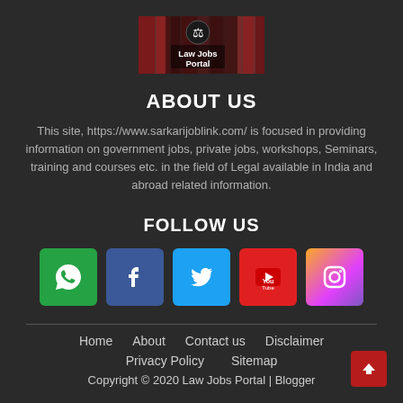[Figure (logo): Law Jobs Portal logo with scales of justice icon and text 'Law Jobs Portal' over a background of law books]
ABOUT US
This site, https://www.sarkarijoblink.com/ is focused in providing information on government jobs, private jobs, workshops, Seminars, training and courses etc. in the field of Legal available in India and abroad related information.
FOLLOW US
[Figure (infographic): Social media icons: WhatsApp (green), Facebook (blue), Twitter (light blue), YouTube (red), Instagram (gradient purple-orange)]
Home   About   Contact us   Disclaimer   Privacy Policy   Sitemap   Copyright © 2020 Law Jobs Portal | Blogger